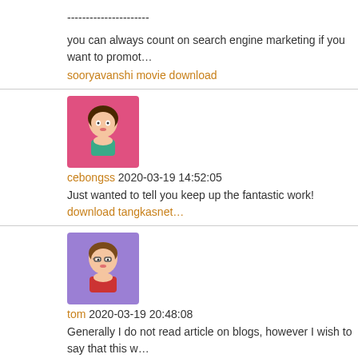----------------------
you can always count on search engine marketing if you want to promot…
sooryavanshi movie download
cebongss 2020-03-19 14:52:05
Just wanted to tell you keep up the fantastic work! download tangkasnet
tom 2020-03-19 20:48:08
Generally I do not read article on blogs, however I wish to say that this w… me to check out and do so! Your writing taste has been amazed me. Tha… facebook
Mila 2020-03-20 12:28:41
I have read your article, it is very informative and helpful for me.I admire… information you offer in your articles. Thanks for posting it